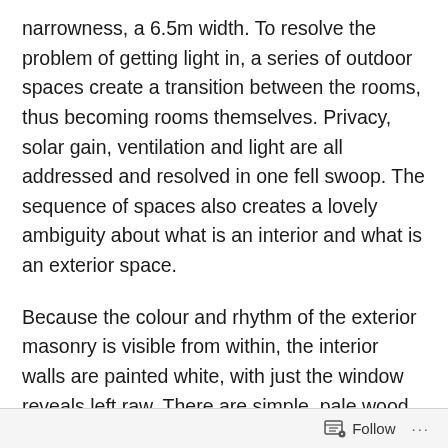narrowness, a 6.5m width. To resolve the problem of getting light in, a series of outdoor spaces create a transition between the rooms, thus becoming rooms themselves. Privacy, solar gain, ventilation and light are all addressed and resolved in one fell swoop. The sequence of spaces also creates a lovely ambiguity about what is an interior and what is an exterior space.
Because the colour and rhythm of the exterior masonry is visible from within, the interior walls are painted white, with just the window reveals left raw. There are simple, pale wood floorboards and an exposed (but beautifully detailed) metal ceiling. Sometimes, the materials are reversed, and the ceiling or walls are lined with wood. The zig zag line of the stair soffit plays against the pattern of
Follow ···